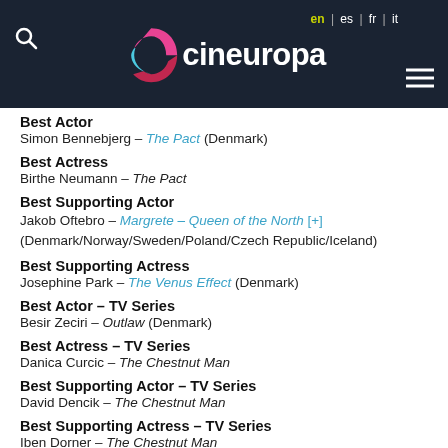cineuropa — en | es | fr | it
Best Actor
Simon Bennebjerg – The Pact (Denmark)
Best Actress
Birthe Neumann – The Pact
Best Supporting Actor
Jakob Oftebro – Margrete – Queen of the North [+] (Denmark/Norway/Sweden/Poland/Czech Republic/Iceland)
Best Supporting Actress
Josephine Park – The Venus Effect (Denmark)
Best Actor – TV Series
Besir Zeciri – Outlaw (Denmark)
Best Actress – TV Series
Danica Curcic – The Chestnut Man
Best Supporting Actor – TV Series
David Dencik – The Chestnut Man
Best Supporting Actress – TV Series
Iben Dorner – The Chestnut Man